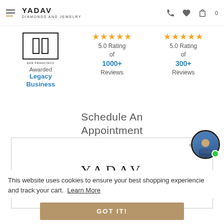YADAV DIAMONDS AND JEWELRY
[Figure (logo): San Francisco legacy business badge/logo with architectural arch icon]
Awarded Legacy Business
[Figure (infographic): 5 gold stars rating]
5.0 Rating of 1000+ Reviews
[Figure (infographic): 5 gold stars rating]
5.0 Rating of 300+ Reviews
Schedule An Appointment
[Figure (logo): Yadav Diamonds and Jewelry logo inside bordered form box]
This website uses cookies to ensure your best shopping experiencie and track your cart. Learn More
GOT IT!